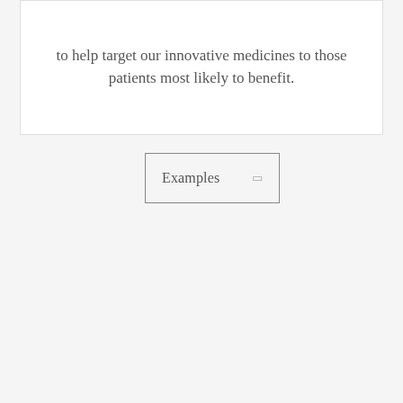to help target our innovative medicines to those patients most likely to benefit.
[Figure (other): A rectangular button/box labeled 'Examples' with a small square icon on the right side, styled with a thin border on a light gray background.]